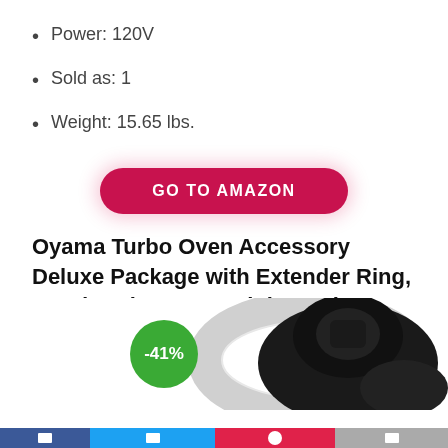Power: 120V
Sold as: 1
Weight: 15.65 lbs.
GO TO AMAZON
Oyama Turbo Oven Accessory Deluxe Package with Extender Ring, Bundt Cake Pan, Stainless wire mesh, Steamer pan, Grill pan, and Turbo lid stand
[Figure (photo): Product photo of Oyama Turbo Oven accessory kit including a stainless steel extender ring and black bundt cake pan, with a green -41% discount badge]